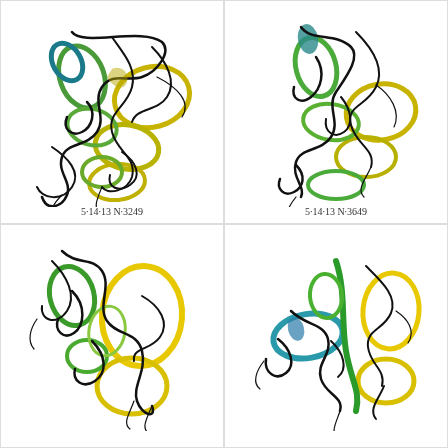[Figure (illustration): Abstract calligraphic artwork with swirling black ink lines and colored loops in green, teal, olive/yellow on white background. Label: 5-14-13 N:3249]
[Figure (illustration): Abstract calligraphic artwork with swirling black ink lines and colored loops in green, teal, olive/yellow on white background. Label: 5-14-13 N:3649]
[Figure (illustration): Abstract calligraphic artwork with swirling black ink lines and large yellow/green loops on white background. No visible label (bottom cropped).]
[Figure (illustration): Abstract calligraphic artwork with swirling black ink lines, teal oval, green diagonal strokes, yellow loops on white background. No visible label (bottom cropped).]